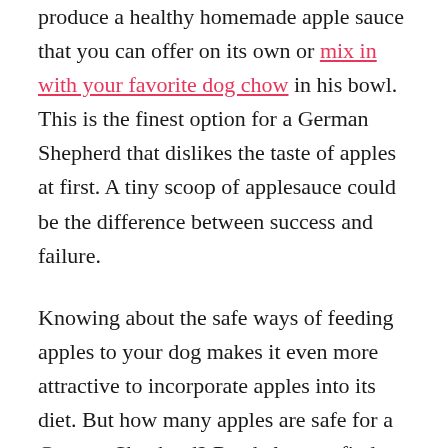You can also boil and mash the apple to produce a healthy homemade apple sauce that you can offer on its own or mix in with your favorite dog chow in his bowl. This is the finest option for a German Shepherd that dislikes the taste of apples at first. A tiny scoop of applesauce could be the difference between success and failure.
Knowing about the safe ways of feeding apples to your dog makes it even more attractive to incorporate apples into its diet. But how many apples are safe for a German Shepherd? Read along to find out!